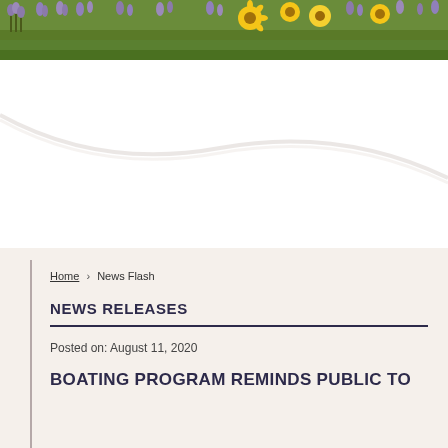[Figure (photo): Wildflower meadow banner image with purple and yellow flowers and green grass at the top of the page]
Home › News Flash
NEWS RELEASES
Posted on: August 11, 2020
BOATING PROGRAM REMINDS PUBLIC TO